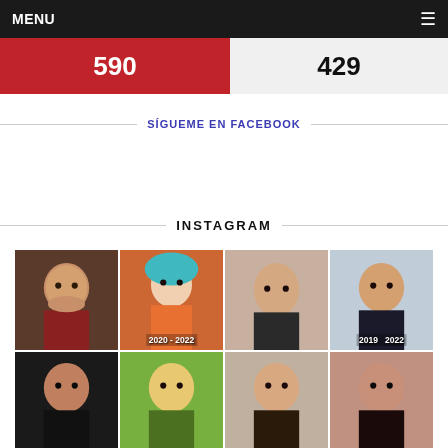MENU
590
429
SIGUEME EN FACEBOOK
INSTAGRAM
[Figure (photo): Grid of Instagram profile photos showing various women, some with overlaid text '2020 - 2022' and '2019 2022']